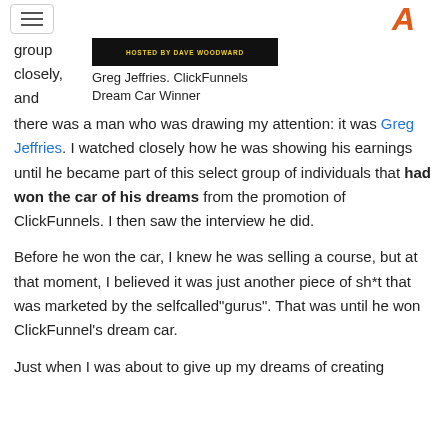[hamburger menu] [logo A]
[Figure (screenshot): Dark thumbnail image with text 'HOSTED BY DAVE WOODWARD' in white/yellow capital letters on a dark background]
Greg Jeffries. ClickFunnels Dream Car Winner
group closely, and there was a man who was drawing my attention: it was Greg Jeffries. I watched closely how he was showing his earnings until he became part of this select group of individuals that had won the car of his dreams from the promotion of ClickFunnels. I then saw the interview he did.
Before he won the car, I knew he was selling a course, but at that moment, I believed it was just another piece of sh*t that was marketed by the selfcalled"gurus". That was until he won ClickFunnel's dream car.
Just when I was about to give up my dreams of creating